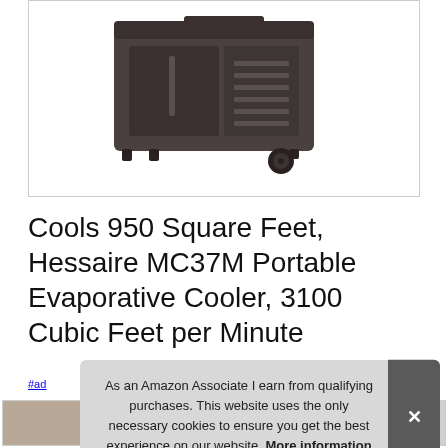[Figure (photo): Dark grey/charcoal portable evaporative cooler unit on wheels, viewed from front-left angle, sitting on four small rubber feet with one visible caster wheel on the right side.]
Cools 950 Square Feet, Hessaire MC37M Portable Evaporative Cooler, 3100 Cubic Feet per Minute
#ad
As an Amazon Associate I earn from qualifying purchases. This website uses the only necessary cookies to ensure you get the best experience on our website. More information